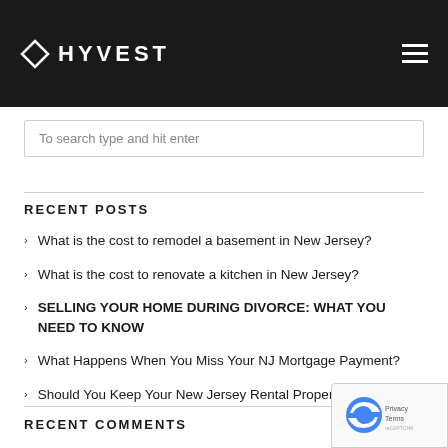HYVEST
To search type and hit enter
RECENT POSTS
What is the cost to remodel a basement in New Jersey?
What is the cost to renovate a kitchen in New Jersey?
SELLING YOUR HOME DURING DIVORCE: WHAT YOU NEED TO KNOW
What Happens When You Miss Your NJ Mortgage Payment?
Should You Keep Your New Jersey Rental Property Or Sell It?
RECENT COMMENTS